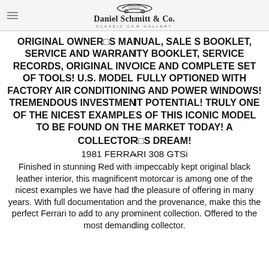Daniel Schmitt & Co. Classic Car Gallery
ORIGINAL OWNER□S MANUAL, SALE S BOOKLET, SERVICE AND WARRANTY BOOKLET, SERVICE RECORDS, ORIGINAL INVOICE AND COMPLETE SET OF TOOLS! U.S. MODEL FULLY OPTIONED WITH FACTORY AIR CONDITIONING AND POWER WINDOWS! TREMENDOUS INVESTMENT POTENTIAL! TRULY ONE OF THE NICEST EXAMPLES OF THIS ICONIC MODEL TO BE FOUND ON THE MARKET TODAY! A COLLECTOR□S DREAM!
1981 FERRARI 308 GTSi
Finished in stunning Red with impeccably kept original black leather interior, this magnificent motorcar is among one of the nicest examples we have had the pleasure of offering in many years. With full documentation and the provenance, make this the perfect Ferrari to add to any prominent collection. Offered to the most demanding collector.